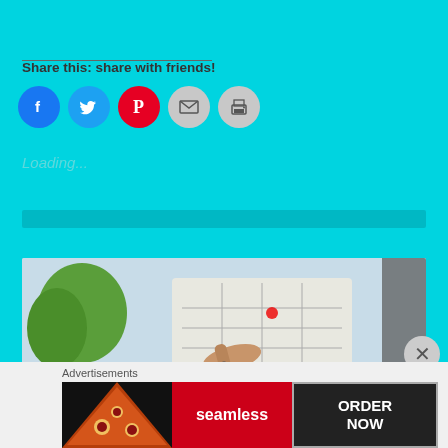Share this: share with friends!
[Figure (infographic): Social sharing buttons: Facebook (blue), Twitter (blue), Pinterest (red), Email (gray), Print (gray)]
Loading...
[Figure (photo): Person pointing at a map or drawing outdoors with trees in background]
Advertisements
[Figure (infographic): Seamless food delivery advertisement banner showing pizza slices on dark background, Seamless red logo, and ORDER NOW button]